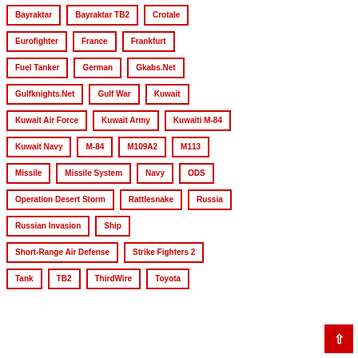Bayraktar
Bayraktar TB2
Crotale
Eurofighter
France
Frankfurt
Fuel Tanker
German
Gkabs.Net
Gulfknights.Net
Gulf War
Kuwait
Kuwait Air Force
Kuwait Army
Kuwaiti M-84
Kuwait Navy
M-84
M109A2
M113
Missile
Missile System
Navy
ODS
Operation Desert Storm
Rattlesnake
Russia
Russian Invasion
Ship
Short-Range Air Defense
Strike Fighters 2
Tank
TB2
ThirdWire
Toyota